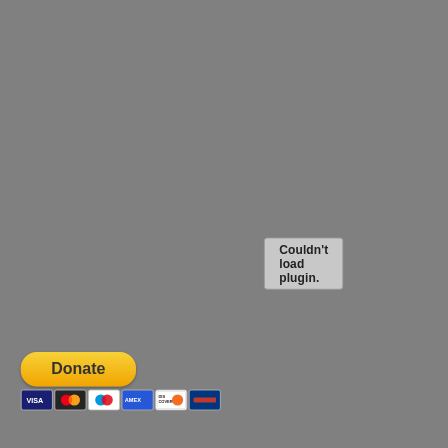[Figure (screenshot): Gray placeholder box with text 'Couldn't load plugin.']
[Figure (other): PayPal Donate button (yellow rounded button) with credit card icons below (Visa, Mastercard, Maestro, Amex, Discover, and one more)]
Help me bring you a quality product: Donate to TTIV NOW.
Semper Fi my friends,
Bobby
Bobby Powell - The Truth Is Viral at 5:48 AM
Share